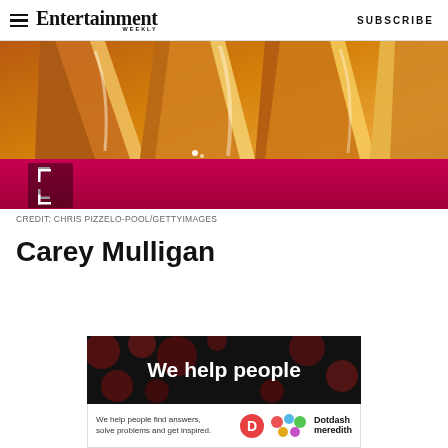Entertainment Weekly — SUBSCRIBE
[Figure (photo): Close-up photo of a gold/metallic shimmering gown on a pink/magenta red carpet, showing draped fabric folds at the hemline. Expand icon visible at bottom left. Credit: CHRIS PIZZELO-POOL/GETTYIMAGES]
CREDIT: CHRIS PIZZELO-POOL/GETTYIMAGES
Carey Mulligan
[Figure (screenshot): Advertisement banner: black background with dark red polka dots, text 'We help people' in white bold font. Below: white bar with text 'We help people find answers, solve problems and get inspired.' with Dotdash Meredith logo.]